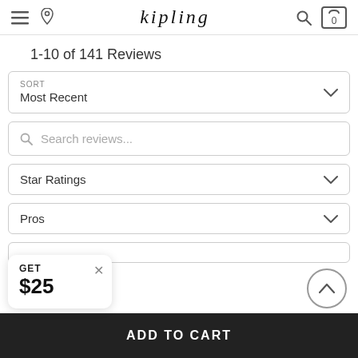kipling navigation bar with menu, location, search, and cart icons
1-10 of 141 Reviews
SORT - Most Recent dropdown
Search reviews... input
Star Ratings dropdown
Pros dropdown
GET $25 popup card
ADD TO CART button